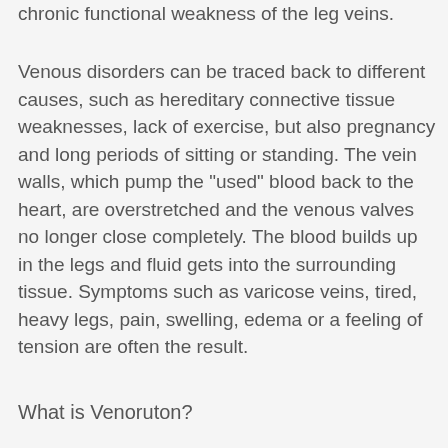chronic functional weakness of the leg veins.
Venous disorders can be traced back to different causes, such as hereditary connective tissue weaknesses, lack of exercise, but also pregnancy and long periods of sitting or standing. The vein walls, which pump the "used" blood back to the heart, are overstretched and the venous valves no longer close completely. The blood builds up in the legs and fluid gets into the surrounding tissue. Symptoms such as varicose veins, tired, heavy legs, pain, swelling, edema or a feeling of tension are often the result.
What is Venoruton?